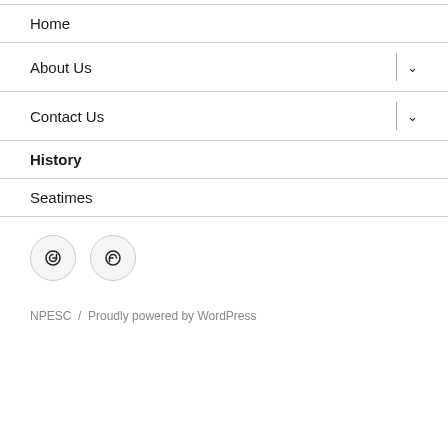Home
About Us
Contact Us
History
Seatimes
[Figure (illustration): Two circular social media icon buttons with a circular arrow/refresh-like icon inside each]
NPESC  /  Proudly powered by WordPress